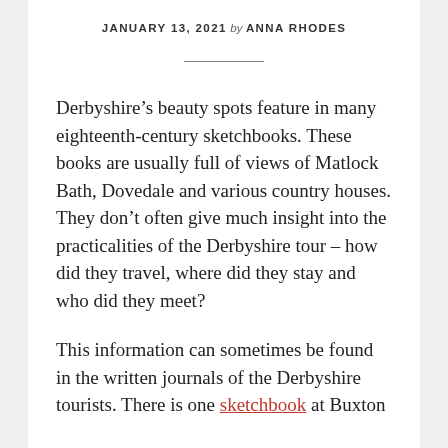JANUARY 13, 2021 by ANNA RHODES
Derbyshire’s beauty spots feature in many eighteenth-century sketchbooks. These books are usually full of views of Matlock Bath, Dovedale and various country houses. They don’t often give much insight into the practicalities of the Derbyshire tour – how did they travel, where did they stay and who did they meet?
This information can sometimes be found in the written journals of the Derbyshire tourists. There is one sketchbook at Buxton